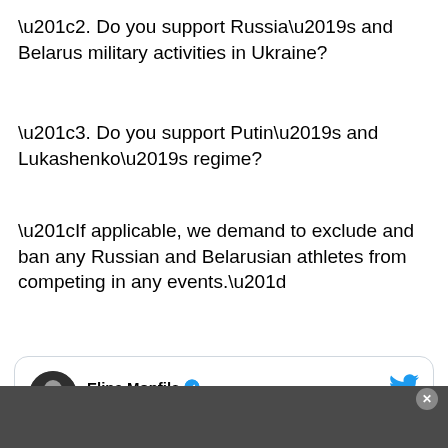“2. Do you support Russia’s and Belarus military activities in Ukraine?
“3. Do you support Putin’s and Lukashenko’s regime?
“If applicable, we demand to exclude and ban any Russian and Belarusian athletes from competing in any events.”
[Figure (screenshot): Twitter/X card showing Elina Monfils (@ElinaSvitolina) with a Follow button, verified badge, Twitter bird logo, and emoji row: red lines, blue heart, yellow circle, Ukrainian flag, fist.]